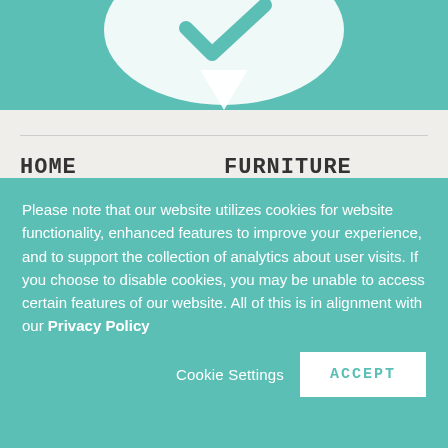[Figure (illustration): Teal/turquoise banner at top with white speech bubble or logo shape partially visible]
HOME
About
Blog
Locations
Contact
FURNITURE
Manufacturers
Styles
Types
Mattresses
Please note that our website utilizes cookies for website functionality, enhanced features to improve your experience, and to support the collection of analytics about user visits. If you choose to disable cookies, you may be unable to access certain features of our website. All of this is in alignment with our Privacy Policy